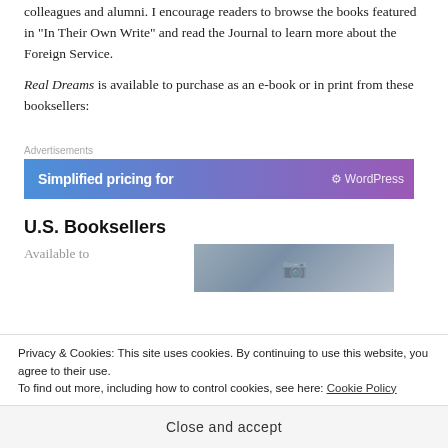colleagues and alumni. I encourage readers to browse the books featured in “In Their Own Write” and read the Journal to learn more about the Foreign Service.
Real Dreams is available to purchase as an e-book or in print from these booksellers:
[Figure (screenshot): Advertisement banner with text 'Simplified pricing for' and WordPress logo on gradient blue-to-purple background]
U.S. Booksellers
Available to
[Figure (photo): Photo with blue-grey cloudy sky tones, partially visible]
Privacy & Cookies: This site uses cookies. By continuing to use this website, you agree to their use.
To find out more, including how to control cookies, see here: Cookie Policy
Close and accept